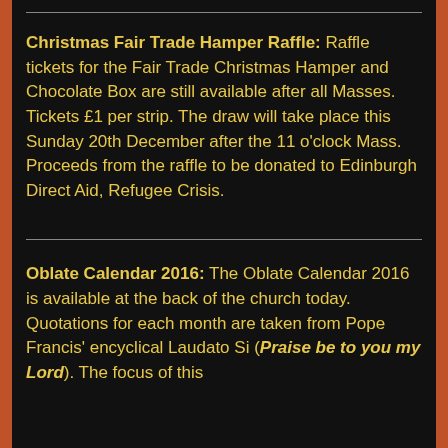Christmas Fair Trade Hamper Raffle: Raffle tickets for the Fair Trade Christmas Hamper and Chocolate Box are still available after all Masses. Tickets £1 per strip. The draw will take place this Sunday 20th December after the 11 o'clock Mass. Proceeds from the raffle to be donated to Edinburgh Direct Aid, Refugee Crisis.
Oblate Calendar 2016: The Oblate Calendar 2016 is available at the back of the church today. Quotations for each month are taken from Pope Francis' encyclical Laudato Si (Praise be to you my Lord). The focus of this